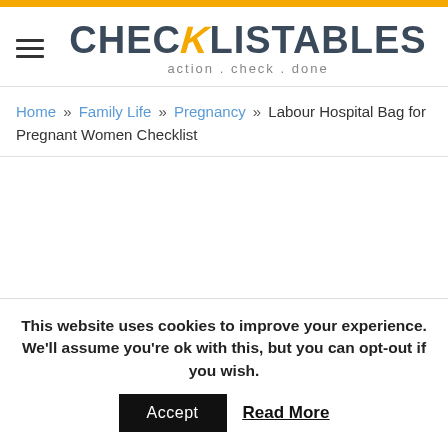CHECKLISTABLES action . check . done
Home » Family Life » Pregnancy » Labour Hospital Bag for Pregnant Women Checklist
This website uses cookies to improve your experience. We'll assume you're ok with this, but you can opt-out if you wish.
Accept   Read More